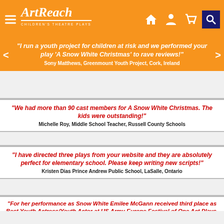ArtReach - Children's Theatre Plays
"I run a youth project for children at risk and we performed your play 'A Snow White Christmas' to rave reviews!" Sony Matthews, Greenmount Youth Project, Cork, Ireland
"We had more than 90 cast members for A Snow White Christmas. The kids were outstanding!" Michelle Roy, Middle School Teacher, Russell County Schools
"I have directed three plays from your website and they are absolutely perfect for elementary school. Please keep writing new scripts!" Kristen Dias Prince Andrew Public School, LaSalle, Ontario
"For her performance as Snow White Emilee McGann received third place as Best Youth Actress/Youth Actor at US Army Europe Festival of One Act Plays. Congratulations Emilee!" Five Pfennig Playhouse, 414th Battalion, Hanau, Germany